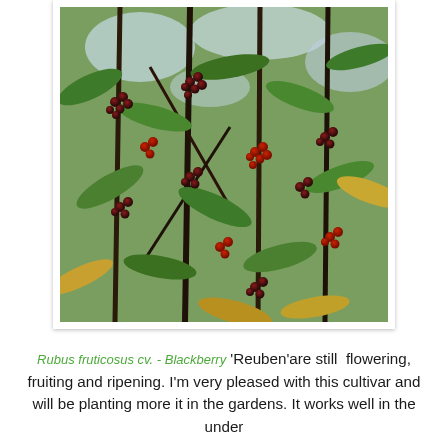[Figure (photo): Close-up photograph of a plant with dark red/black berry clusters and green and yellow leaves on dark stems, likely a blackberry bush (Rubus fruticosus) with ripening berries in various stages from red to dark black.]
Rubus fruticosus cv. - Blackberry 'Reuben'are still flowering, fruiting and ripening. I'm very pleased with this cultivar and will be planting more it in the gardens. It works well in the under